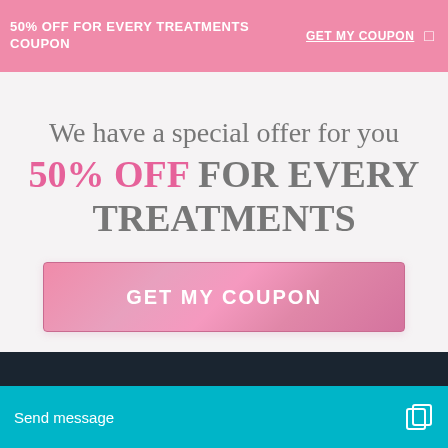50% OFF FOR EVERY TREATMENTS COUPON   GET MY COUPON
We have a special offer for you
50% OFF FOR EVERY TREATMENTS
GET MY COUPON
Send message